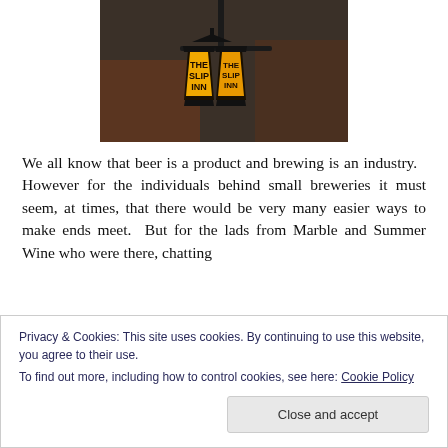[Figure (photo): Photo of The Slip Inn pub lantern sign, glowing yellow-orange against a dark background with brick building visible]
We all know that beer is a product and brewing is an industry.  However for the individuals behind small breweries it must seem, at times, that there would be very many easier ways to make ends meet.  But for the lads from Marble and Summer Wine who were there, chatting
Privacy & Cookies: This site uses cookies. By continuing to use this website, you agree to their use.
To find out more, including how to control cookies, see here: Cookie Policy